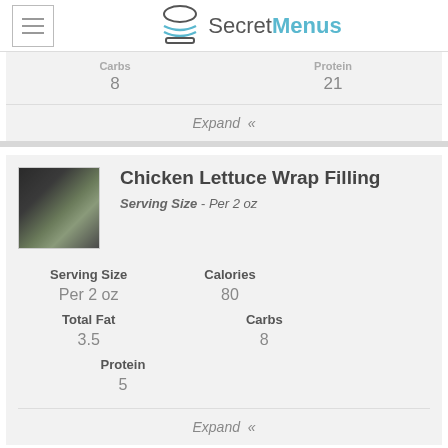SecretMenus
| Carbs | Protein |
| --- | --- |
| 8 | 21 |
Expand «
Chicken Lettuce Wrap Filling
Serving Size - Per 2 oz
| Serving Size | Calories | Total Fat |
| --- | --- | --- |
| Per 2 oz | 80 | 3.5 |
| Carbs | Protein |
| --- | --- |
| 8 | 5 |
Expand «